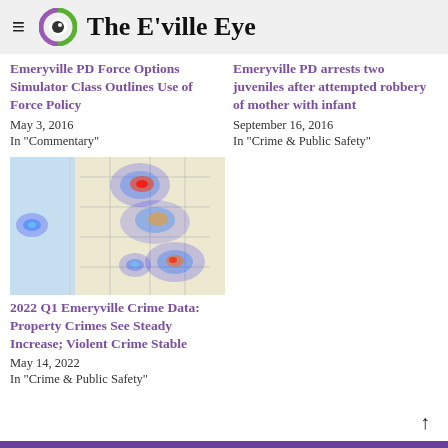The E'ville Eye
Emeryville PD Force Options Simulator Class Outlines Use of Force Policy
May 3, 2016
In "Commentary"
Emeryville PD arrests two juveniles after attempted robbery of mother with infant
September 16, 2016
In "Crime & Public Safety"
[Figure (map): Crime heat map of Emeryville area showing clustered hotspots of crime incidents overlaid on a street/geographic map, with blue-to-red color gradient indicating crime density.]
2022 Q1 Emeryville Crime Data: Property Crimes See Steady Increase; Violent Crime Stable
May 14, 2022
In "Crime & Public Safety"